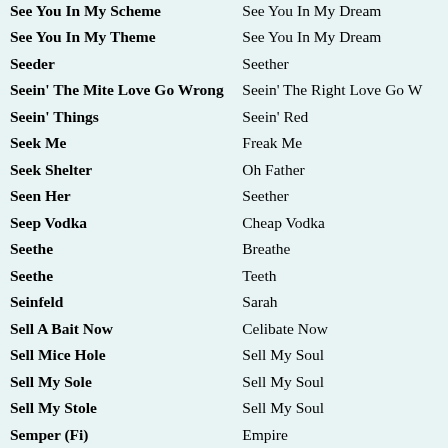| Misheard/Alternate | Original |
| --- | --- |
| See You In My Scheme | See You In My Dream |
| See You In My Theme | See You In My Dream |
| Seeder | Seether |
| Seein' The Mite Love Go Wrong | Seein' The Right Love Go W... |
| Seein' Things | Seein' Red |
| Seek Me | Freak Me |
| Seek Shelter | Oh Father |
| Seen Her | Seether |
| Seep Vodka | Cheap Vodka |
| Seethe | Breathe |
| Seethe | Teeth |
| Seinfeld | Sarah |
| Sell A Bait Now | Celibate Now |
| Sell Mice Hole | Sell My Soul |
| Sell My Sole | Sell My Soul |
| Sell My Stole | Sell My Soul |
| Semper (Fi) | Empire |
| Send Me An E-Mail | Send Me An Angel |
| send me an email | send me an angel |